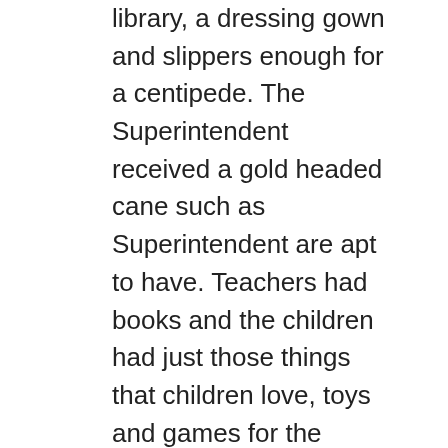library, a dressing gown and slippers enough for a centipede. The Superintendent received a gold headed cane such as Superintendent are apt to have. Teachers had books and the children had just those things that children love, toys and games for the winter evenings, story books and boxes of candy.
Bright eyes and shining faces showed their appreciation of the gifts and when the senior class of elderly men led by Mr. [James K.] Colby of blessed memory, with Deacon Arnold Hutchinson, Levi Harlow and Francis Brigham received copies in most effulgent colors of the choicest of the nursery classics, “The Hare and The Tortoise,” “Little Red Riding Hood” and others. Their faces were wreathed in smiles and I do not believe an Encyclopedia or a Webster Unabridged